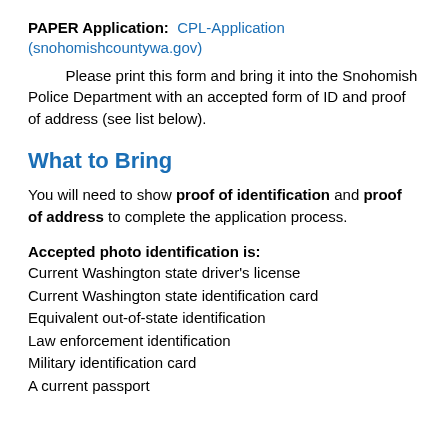PAPER Application: CPL-Application (snohomishcountywa.gov)
Please print this form and bring it into the Snohomish Police Department with an accepted form of ID and proof of address (see list below).
What to Bring
You will need to show proof of identification and proof of address to complete the application process.
Accepted photo identification is:
Current Washington state driver's license
Current Washington state identification card
Equivalent out-of-state identification
Law enforcement identification
Military identification card
A current passport